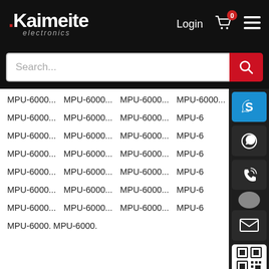[Figure (screenshot): Kaimeite electronics website header with logo, Login, cart (0), and hamburger menu on black background]
[Figure (screenshot): Search bar with placeholder text 'Search...' and red search button]
MPU-6000... MPU-6000... MPU-6000... MPU-6000... (repeated grid of product names, 8 rows x 4 columns, partially covered by contact sidebar with Skype, WhatsApp, phone, email, QR icons)